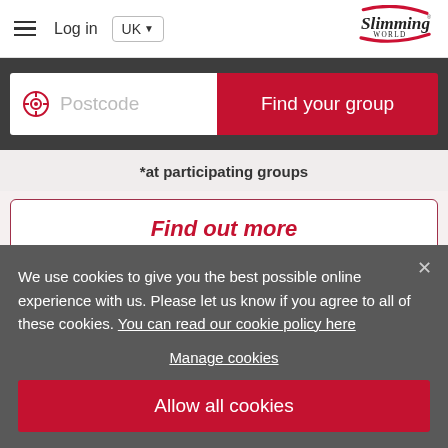Log in | UK | Slimming World
[Figure (screenshot): Slimming World website header with hamburger menu, Log in link, UK dropdown, and Slimming World logo]
Postcode
Find your group
*at participating groups
Find out more
We use cookies to give you the best possible online experience with us. Please let us know if you agree to all of these cookies. You can read our cookie policy here
Manage cookies
Allow all cookies